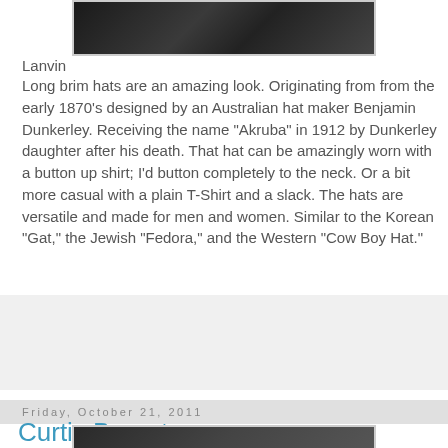[Figure (photo): Partial photo of people wearing dark clothing, top of page]
Lanvin
Long brim hats are an amazing look. Originating from from the early 1870's designed by an Australian hat maker Benjamin Dunkerley. Receiving the name "Akruba" in 1912 by Dunkerley daughter after his death. That hat can be amazingly worn with a button up shirt; I'd button completely to the neck. Or a bit more casual with a plain T-Shirt and a slack. The hats are versatile and made for men and women. Similar to the Korean "Gat," the Jewish "Fedora," and the Western "Cow Boy Hat."
No comments:
Share
Friday, October 21, 2011
Curtis Bryant
[Figure (photo): Partial photo at bottom of page]